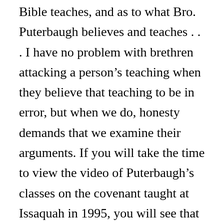Bible teaches, and as to what Bro. Puterbaugh believes and teaches . . . I have no problem with brethren attacking a person's teaching when they believe that teaching to be in error, but when we do, honesty demands that we examine their arguments. If you will take the time to view the video of Puterbaugh's classes on the covenant taught at Issaquah in 1995, you will see that jp's reasons for his conclusions are completely ignored in the tract . . . Instead McDonald claimed that jp's position on the covenant is taken because of